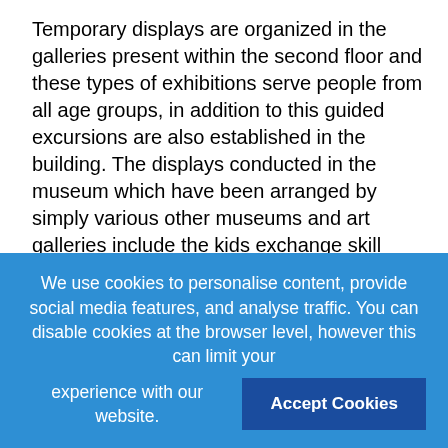Temporary displays are organized in the galleries present within the second floor and these types of exhibitions serve people from all age groups, in addition to this guided excursions are also established in the building. The displays conducted in the museum which have been arranged by simply various other museums and art galleries include the kids exchange skill show of Nyc City/Tokyo, Smithsonian exhibition which in turn shows the everyday life happenings in the Impérialiste America in addition to a display in the boroughs' with the city within a pictorial fashion. (New You are able to Architecture)
The Federal Lounge is a 162 years old building located in the Wall and Broad Pavements. The building is usually undergoing a form of regeneration of its own. It had been last summertime that a corner of the building which was alarmingly undermined was shored up. This year the master plan is to banks up some part of the east wall along
We use cookies to personalise content, provide social media features, and analyse traffic. You can disable cookies at the browser level, however this can limit your experience with our website.
Accept Cookies